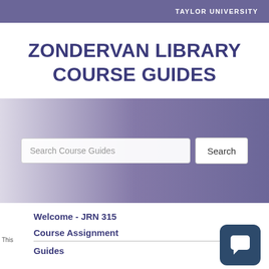TAYLOR UNIVERSITY
ZONDERVAN LIBRARY COURSE GUIDES
[Figure (screenshot): Search bar with placeholder text 'Search Course Guides' and a 'Search' button, on a purple gradient banner background]
Welcome - JRN 315
Course Assignment
Guides